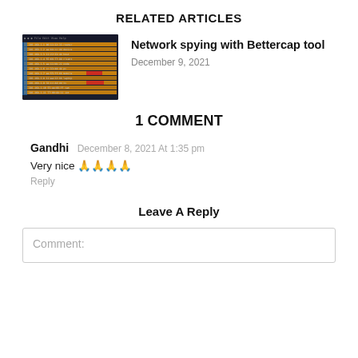RELATED ARTICLES
[Figure (screenshot): Screenshot of Bettercap network tool interface with dark background and orange/red highlighted rows]
Network spying with Bettercap tool
December 9, 2021
1 COMMENT
Gandhi  December 8, 2021 At 1:35 pm
Very nice 🙏🙏🙏🙏
Reply
Leave A Reply
Comment: